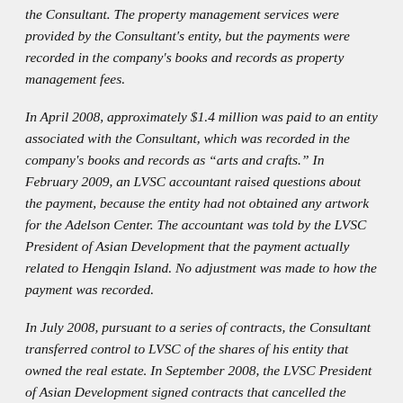the Consultant. The property management services were provided by the Consultant's entity, but the payments were recorded in the company's books and records as property management fees.
In April 2008, approximately $1.4 million was paid to an entity associated with the Consultant, which was recorded in the company's books and records as "arts and crafts." In February 2009, an LVSC accountant raised questions about the payment, because the entity had not obtained any artwork for the Adelson Center. The accountant was told by the LVSC President of Asian Development that the payment actually related to Hengqin Island. No adjustment was made to how the payment was recorded.
In July 2008, pursuant to a series of contracts, the Consultant transferred control to LVSC of the shares of his entity that owned the real estate. In September 2008, the LVSC President of Asian Development signed contracts that cancelled the transfer of shares